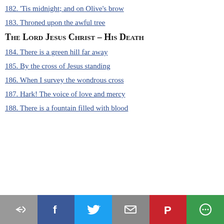182. 'Tis midnight; and on Olive's brow
183. Throned upon the awful tree
The Lord Jesus Christ – His Death
184. There is a green hill far away
185. By the cross of Jesus standing
186. When I survey the wondrous cross
187. Hark! The voice of love and mercy
188. There is a fountain filled with blood
[Figure (infographic): Social sharing bar with icons: share (arrow), Facebook (f), Twitter (bird), email (envelope), Pinterest (P), More (circular icon)]